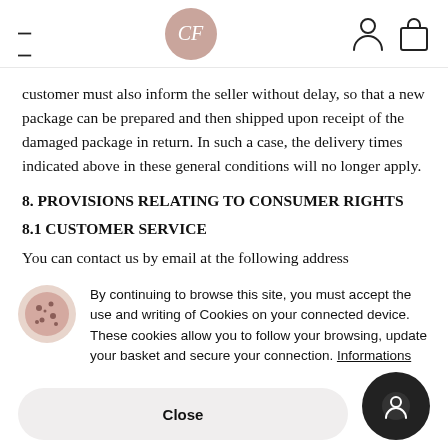CF [logo] [account icon] [bag icon]
customer must also inform the seller without delay, so that a new package can be prepared and then shipped upon receipt of the damaged package in return. In such a case, the delivery times indicated above in these general conditions will no longer apply.
8. PROVISIONS RELATING TO CONSUMER RIGHTS
8.1 CUSTOMER SERVICE
You can contact us by email at the following address
By continuing to browse this site, you must accept the use and writing of Cookies on your connected device. These cookies allow you to follow your browsing, update your basket and secure your connection. Informations
Close